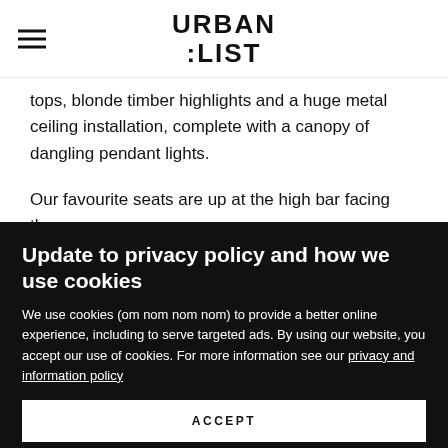URBAN LIST
tops, blonde timber highlights and a huge metal ceiling installation, complete with a canopy of dangling pendant lights.
Our favourite seats are up at the high bar facing the
Update to privacy policy and how we use cookies
We use cookies (om nom nom nom) to provide a better online experience, including to serve targeted ads. By using our website, you accept our use of cookies. For more information see our privacy and information policy
ACCEPT